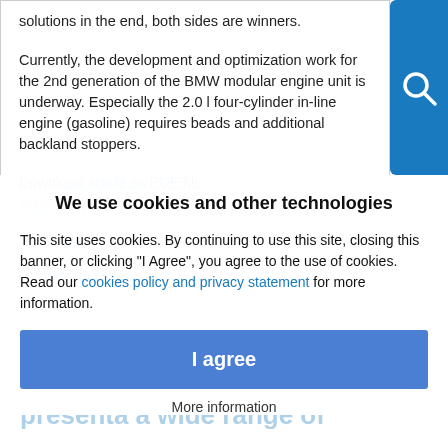solutions in the end, both sides are winners.

Currently, the development and optimization work for the 2nd generation of the BMW modular engine unit is underway. Especially the 2.0 l four-cylinder in-line engine (gasoline) requires beads and additional backland stoppers.
Download article as PDF-file
We use cookies and other technologies
This site uses cookies. By continuing to use this site, closing this banner, or clicking "I Agree", you agree to the use of cookies. Read our cookies policy and privacy statement for more information.
I agree
More information